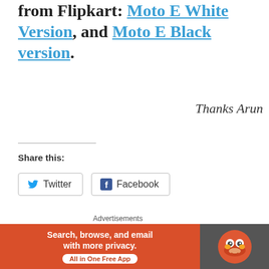from Flipkart: Moto E White Version, and Moto E Black version.
Thanks Arun
Share this:
Twitter
Facebook
Loading...
Related
Advertisements
[Figure (other): DuckDuckGo advertisement banner: orange background with text 'Search, browse, and email with more privacy. All in One Free App' and DuckDuckGo logo on dark grey background]